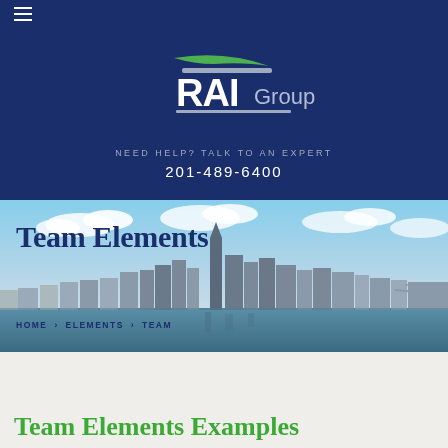[Figure (logo): RAI Group logo with green and grey swoosh marks above bold white RAI text and grey Group text, on dark navy blue background]
NEED HELP? TALK TO AN EXPERT
201-489-6400
[Figure (photo): New York City skyline panorama with blue sky and clouds, water in foreground]
Team Elements
HOME › ELEMENTS › TEAM
Team Elements Examples